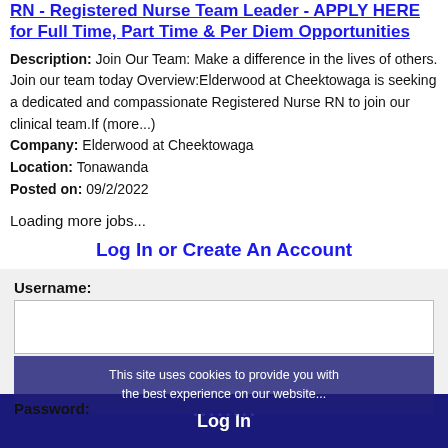RN - Registered Nurse Team Leader - APPLY HERE for Full Time, Part Time & Per Diem Opportunities
Description: Join Our Team: Make a difference in the lives of others. Join our team today Overview:Elderwood at Cheektowaga is seeking a dedicated and compassionate Registered Nurse RN to join our clinical team.If (more...)
Company: Elderwood at Cheektowaga
Location: Tonawanda
Posted on: 09/2/2022
Loading more jobs...
Log In or Create An Account
Username:
Password:
Log In